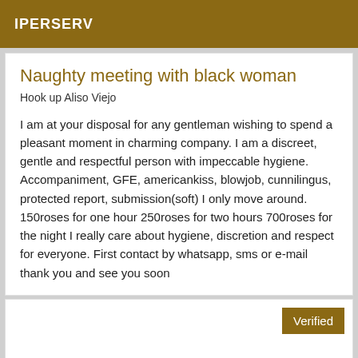IPERSERV
Naughty meeting with black woman
Hook up Aliso Viejo
I am at your disposal for any gentleman wishing to spend a pleasant moment in charming company. I am a discreet, gentle and respectful person with impeccable hygiene. Accompaniment, GFE, americankiss, blowjob, cunnilingus, protected report, submission(soft) I only move around. 150roses for one hour 250roses for two hours 700roses for the night I really care about hygiene, discretion and respect for everyone. First contact by whatsapp, sms or e-mail thank you and see you soon
Verified